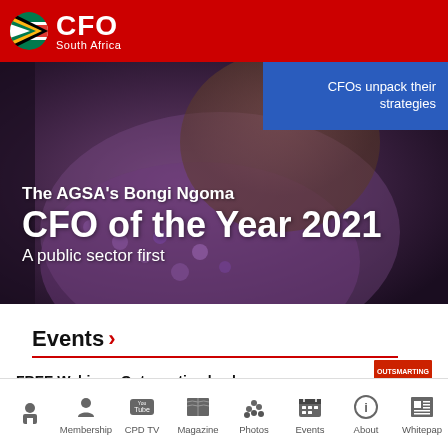CFO South Africa
[Figure (photo): Hero banner showing The AGSA's Bongi Ngoma CFO of the Year 2021 - A public sector first, with blue box overlay saying CFOs unpack their strategies]
Events >
FREE Webinar: Outsmarting hackers
Home | Membership | CPD TV | Magazine | Photos | Events | About | Whitepaper